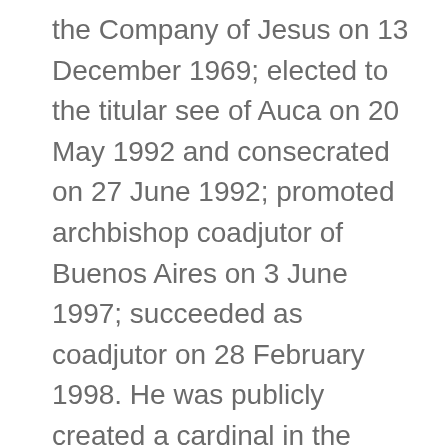the Company of Jesus on 13 December 1969; elected to the titular see of Auca on 20 May 1992 and consecrated on 27 June 1992; promoted archbishop coadjutor of Buenos Aires on 3 June 1997; succeeded as coadjutor on 28 February 1998. He was publicly created a cardinal in the Consistory of 21 February 2001; elected Pontiff on 13 March 2013 and solemnly initiated his Universal Pastoral Ministry of the Church on 19 March 2013. Titles: Bishop of Rome, Vicar of Jesus Christ, Successor of the Prince of the Apostles, Supreme Pontiff of the Universal Church, Primate of Italy, Metropolitan